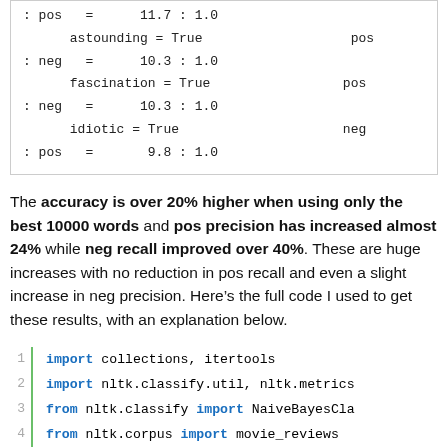: pos  =      11.7 : 1.0
      astounding = True                    pos
: neg  =      10.3 : 1.0
      fascination = True                   pos
: neg  =      10.3 : 1.0
      idiotic = True                       neg
: pos  =       9.8 : 1.0
The accuracy is over 20% higher when using only the best 10000 words and pos precision has increased almost 24% while neg recall improved over 40%. These are huge increases with no reduction in pos recall and even a slight increase in neg precision. Here’s the full code I used to get these results, with an explanation below.
1  import collections, itertools
2  import nltk.classify.util, nltk.metrics
3  from nltk.classify import NaiveBayesCla
4  from nltk.corpus import movie_reviews